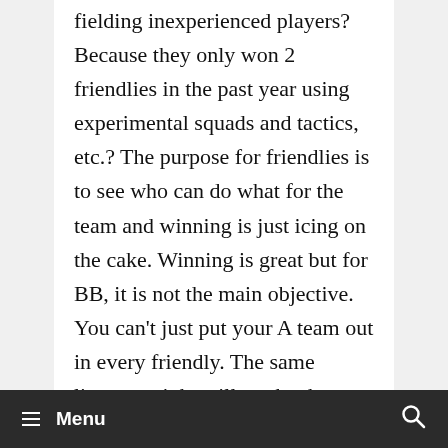fielding inexperienced players? Because they only won 2 friendlies in the past year using experimental squads and tactics, etc.? The purpose for friendlies is to see who can do what for the team and winning is just icing on the cake. Winning is great but for BB, it is not the main objective. You can't just put your A team out in every friendly. The same lineup tonight will not be the same line up we saw 3 days ago. That Spain game is already forgotten. The vets and coaching staff aren't going to let past friendlies get them down.
≡ Menu  🔍